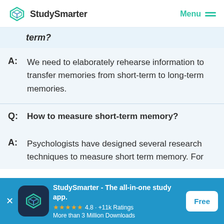StudySmarter | Menu
term?
A: We need to elaborately rehearse information to transfer memories from short-term to long-term memories.
Q: How to measure short-term memory?
A: Psychologists have designed several research techniques to measure short term memory. For
StudySmarter - The all-in-one study app. 4.8 · +11k Ratings More than 3 Million Downloads Free